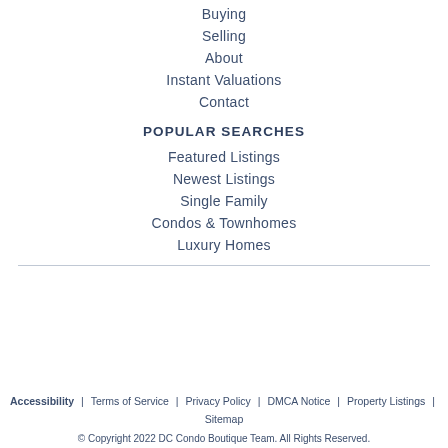Buying
Selling
About
Instant Valuations
Contact
POPULAR SEARCHES
Featured Listings
Newest Listings
Single Family
Condos & Townhomes
Luxury Homes
Accessibility | Terms of Service | Privacy Policy | DMCA Notice | Property Listings | Sitemap
© Copyright 2022 DC Condo Boutique Team. All Rights Reserved.